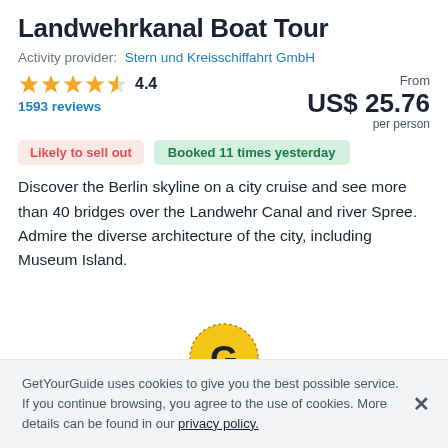Landwehrkanal Boat Tour
Activity provider: Stern und Kreisschiffahrt GmbH
4.4
1593 reviews
From US$ 25.76 per person
Likely to sell out   Booked 11 times yesterday
Discover the Berlin skyline on a city cruise and see more than 40 bridges over the Landwehr Canal and river Spree. Admire the diverse architecture of the city, including Museum Island.
[Figure (logo): GetYourGuide circular logo with G letter on gold/yellow background with dotted border]
GetYourGuide uses cookies to give you the best possible service. If you continue browsing, you agree to the use of cookies. More details can be found in our privacy policy.